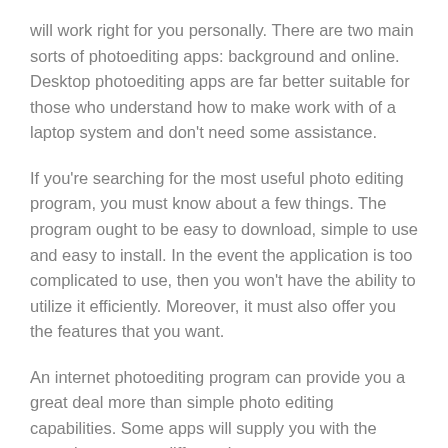will work right for you personally. There are two main sorts of photoediting apps: background and online. Desktop photoediting apps are far better suitable for those who understand how to make work with of a laptop system and don't need some assistance.
If you're searching for the most useful photo editing program, you must know about a few things. The program ought to be easy to download, simple to use and easy to install. In the event the application is too complicated to use, then you won't have the ability to utilize it efficiently. Moreover, it must also offer you the features that you want.
An internet photoediting program can provide you a great deal more than simple photo editing capabilities. Some apps will supply you with the capacity to export different images to your own photo. Editor and apply them effects.